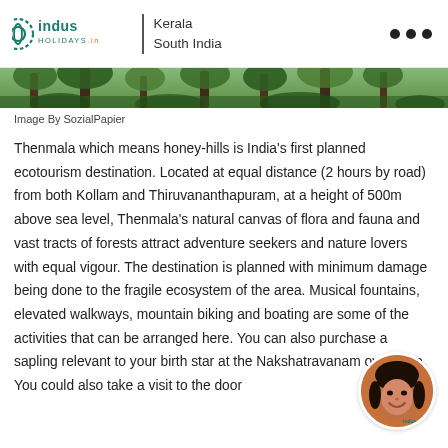indus HOLIDAYS.in | Kerala South India
[Figure (photo): Partial view of a lush green forest/jungle area, bottom strip of a larger image showing dense tropical vegetation and tree trunks]
Image By SozialPapier
Thenmala which means honey-hills is India's first planned ecotourism destination. Located at equal distance (2 hours by road) from both Kollam and Thiruvananthapuram, at a height of 500m above sea level, Thenmala's natural canvas of flora and fauna and vast tracts of forests attract adventure seekers and nature lovers with equal vigour. The destination is planned with minimum damage being done to the fragile ecosystem of the area. Musical fountains, elevated walkways, mountain biking and boating are some of the activities that can be arranged here. You can also purchase a sapling relevant to your birth star at the Nakshatravanam over here. You could also take a visit to the door
[Figure (photo): Round avatar/profile photo of a smiling woman with dark hair, overlaid on the bottom-right corner of the page with a small Indus logo visible]